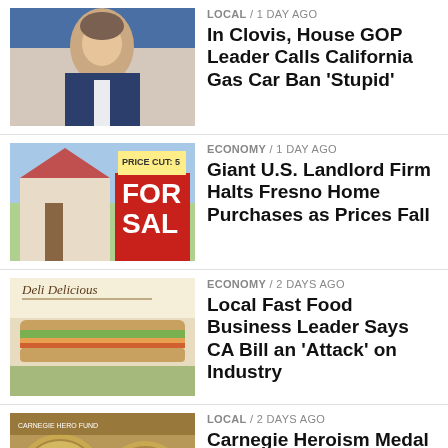[Figure (photo): Head shot of a man in a suit against blue background]
LOCAL / 1 day ago
In Clovis, House GOP Leader Calls California Gas Car Ban 'Stupid'
[Figure (photo): House For Sale sign with Price Cut sticker]
ECONOMY / 1 day ago
Giant U.S. Landlord Firm Halts Fresno Home Purchases as Prices Fall
[Figure (photo): Deli Delicious sandwich shop]
ECONOMY / 2 days ago
Local Fast Food Business Leader Says CA Bill an 'Attack' on Industry
[Figure (photo): Carnegie Heroism Medal coins with man's portrait]
LOCAL / 2 days ago
Carnegie Heroism Medal for Fresno Man Who Died Saving Child's Life
[Figure (photo): Construction site with wood framing and equipment]
HOUSING / 2 days ago
Local Homebuilders Left Powerless as Transformer Shortage Slows Construct